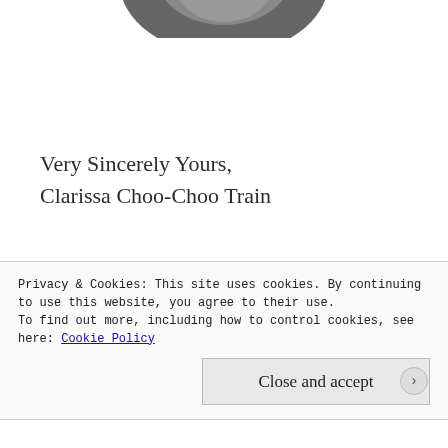[Figure (photo): Partial circular profile photo cropped at top of page, showing bottom portion of a person's head/hair in dark tones]
Very Sincerely Yours,
Clarissa Choo-Choo Train
P.S. Why am I supporting this conference when I don't have chronic illness? Actually, my dad has a rare chronic illness called CIDP, an auto-immune
Privacy & Cookies: This site uses cookies. By continuing to use this website, you agree to their use.
To find out more, including how to control cookies, see here: Cookie Policy
Close and accept